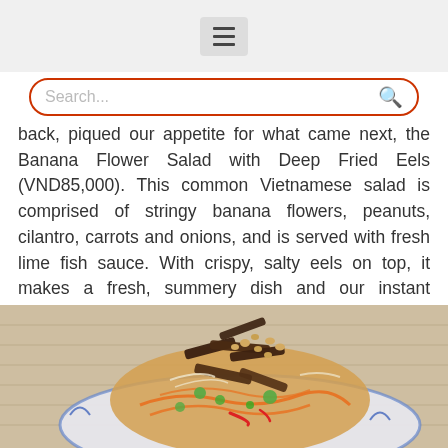Hamburger menu icon
Search...
back, piqued our appetite for what came next, the Banana Flower Salad with Deep Fried Eels (VND85,000). This common Vietnamese salad is comprised of stringy banana flowers, peanuts, cilantro, carrots and onions, and is served with fresh lime fish sauce. With crispy, salty eels on top, it makes a fresh, summery dish and our instant favorite.
[Figure (photo): Close-up photo of a Vietnamese Banana Flower Salad with Deep Fried Eels on a decorative blue and white plate, showing crispy fried eels, shredded banana flower, carrots, peanuts, herbs and chili, placed on a wicker surface]